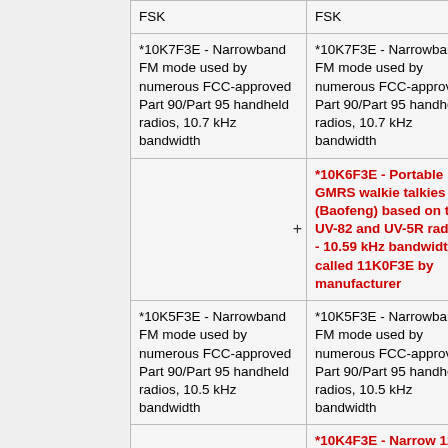|  |  |
| --- | --- |
| FSK | FSK |
| *10K7F3E - Narrowband FM mode used by numerous FCC-approved Part 90/Part 95 handheld radios, 10.7 kHz bandwidth | *10K7F3E - Narrowband FM mode used by numerous FCC-approved Part 90/Part 95 handheld radios, 10.7 kHz bandwidth |
| (empty) | *10K6F3E - Portable GMRS walkie talkies (Baofeng) based on the UV-82 and UV-5R radios - 10.59 kHz bandwidth, called 11K0F3E by manufacturer |
| *10K5F3E - Narrowband FM mode used by numerous FCC-approved Part 90/Part 95 handheld radios, 10.5 kHz bandwidth | *10K5F3E - Narrowband FM mode used by numerous FCC-approved Part 90/Part 95 handheld radios, 10.5 kHz bandwidth |
| (empty) | *10K4F3E - Narrow 12K mode (12.5 kHz ... |